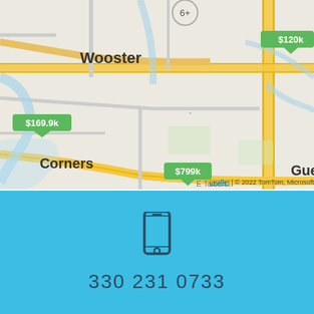[Figure (map): Road map showing Wooster, Honeytown, Corners, Guerne, and Ely Rd area with property price markers: $169.9k, $799k, $120k. Map attribution: Leaflet | © 2022 TomTom, Microsoft]
Leaflet | © 2022 TomTom, Microsoft
[Figure (infographic): Blue contact section with smartphone icon and phone number 330 231 0733]
330 231 0733